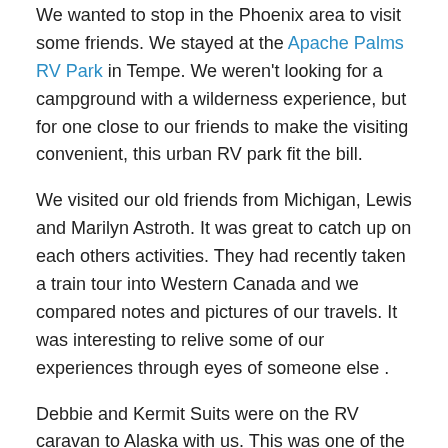We wanted to stop in the Phoenix area to visit some friends. We stayed at the Apache Palms RV Park in Tempe. We weren't looking for a campground with a wilderness experience, but for one close to our friends to make the visiting convenient, this urban RV park fit the bill.
We visited our old friends from Michigan, Lewis and Marilyn Astroth. It was great to catch up on each others activities. They had recently taken a train tour into Western Canada and we compared notes and pictures of our travels. It was interesting to relive some of our experiences through eyes of someone else .
Debbie and Kermit Suits were on the RV caravan to Alaska with us. This was one of the few times we didn't feel like we had to show our Alaska pictures, because they had their own! We had a nice evening eating and sharing stories. We hope we have the occasion to see them again